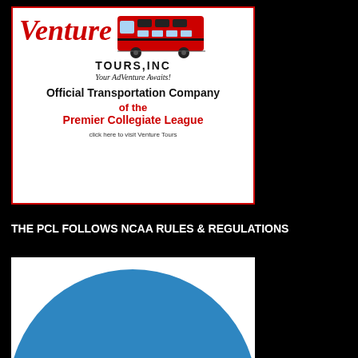[Figure (logo): Venture Tours, Inc. advertisement showing red double-decker bus logo with text 'Official Transportation Company of the Premier Collegiate League' and 'click here to visit Venture Tours']
THE PCL FOLLOWS NCAA RULES & REGULATIONS
[Figure (illustration): Blue circle/semicircle shape on white background, partially visible at bottom of page]